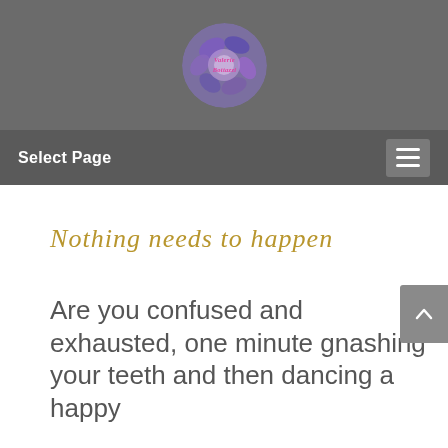[Figure (logo): Circular logo with colorful floral/abstract design and stylized text 'Valerie Bottazzi' in pink]
Select Page
Nothing needs to happen
Are you confused and exhausted, one minute gnashing your teeth and then dancing a happy